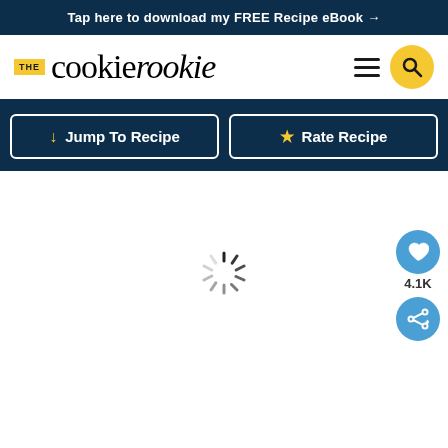Tap here to download my FREE Recipe eBook →
[Figure (logo): The Cookie Rookie website logo with 'THE' in yellow box, 'cookie rookie' in large serif font, hamburger menu icon, and yellow search circle icon]
Jump To Recipe
Rate Recipe
[Figure (illustration): Loading spinner (sunburst/radial lines) in center of white content area, with a heart/favorite button (4.1K count) and share button floating on the right side]